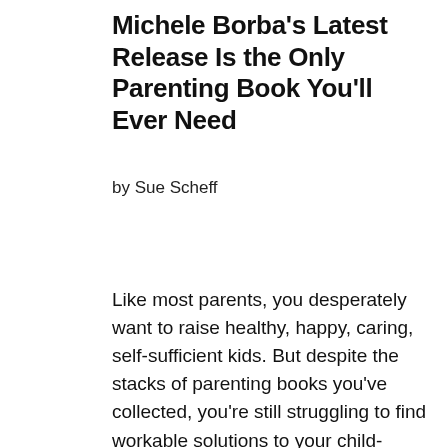Michele Borba's Latest Release Is the Only Parenting Book You'll Ever Need
by Sue Scheff
Like most parents, you desperately want to raise healthy, happy, caring, self-sufficient kids. But despite the stacks of parenting books you've collected, you're still struggling to find workable solutions to your child-rearing conundrums. Enter parenting expert and author Dr. Michele Borba. In a marketplace overly saturated with trend-based parenting books promising dubious